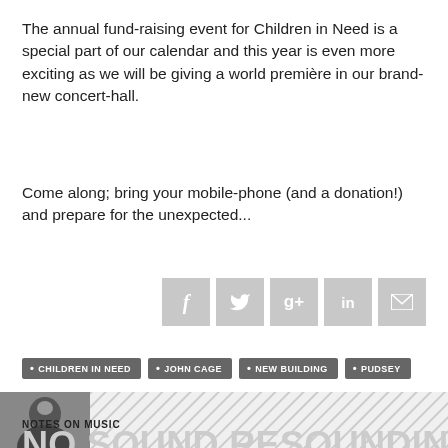The annual fund-raising event for Children in Need is a special part of our calendar and this year is even more exciting as we will be giving a world première in our brand-new concert-hall.
Come along; bring your mobile-phone (and a donation!) and prepare for the unexpected...
[Figure (other): Social media share icons: Facebook (f), Twitter (bird), Google+ (g+), LinkedIn (in), Email (envelope)]
• CHILDREN IN NEED
• JOHN CAGE
• NEW BUILDING
• PUDSEY
[Figure (photo): Black and white author photo of a smiling older person, with diagonal hatching pattern to the right]
NOTES ON MUSIC
NO SOUND RESOUNDING: